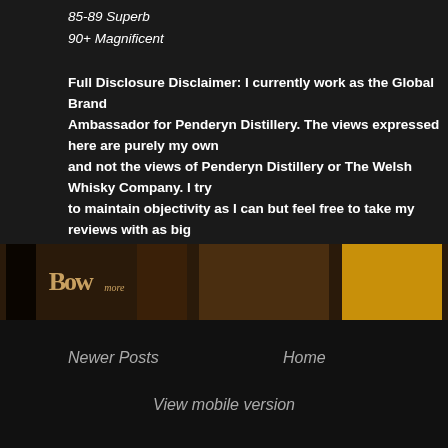85-89 Superb
90+ Magnificent
Full Disclosure Disclaimer: I currently work as the Global Brand Ambassador for Penderyn Distillery. The views expressed here are purely my own and not the views of Penderyn Distillery or The Welsh Whisky Company. I try to maintain objectivity as I can but feel free to take my reviews with as big a pinch of salt as you like. Furthermore, my rating scale is NOT based on a Parker type 100 point scale or a school/college/university % or A-F grade score. You can find my scale here. I apologise for any seemly low or 'bad' scores given with my scale as I simply can't say only nice things. Please keep in mind that I am ethically compromised and am unable to produce 100% unbiased reviews.
Why is this here?
Posted by David Cover at 03:30   No comments:
Labels: 30, Glengoyne, Highland, Review, Scotch, Sherry, Single Malt
[Figure (photo): Bottom strip showing whisky bottles and distillery imagery in warm amber tones]
Newer Posts
Home
View mobile version